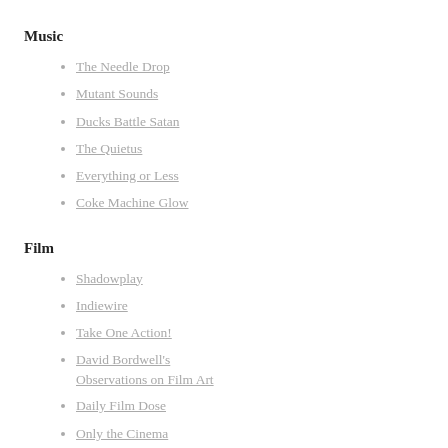Music
The Needle Drop
Mutant Sounds
Ducks Battle Satan
The Quietus
Everything or Less
Coke Machine Glow
Film
Shadowplay
Indiewire
Take One Action!
David Bordwell's Observations on Film Art
Daily Film Dose
Only the Cinema